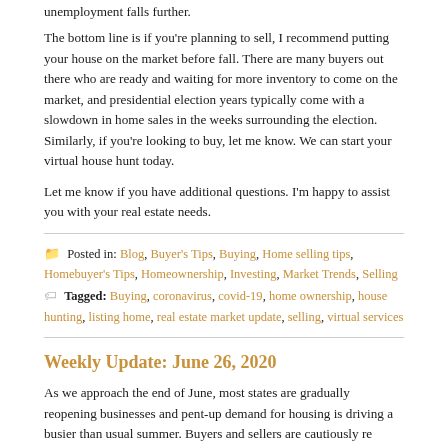unemployment falls further.
The bottom line is if you’re planning to sell, I recommend putting your house on the market before fall. There are many buyers out there who are ready and waiting for more inventory to come on the market, and presidential election years typically come with a slowdown in home sales in the weeks surrounding the election. Similarly, if you’re looking to buy, let me know. We can start your virtual house hunt today.
Let me know if you have additional questions. I’m happy to assist you with your real estate needs.
Posted in: Blog, Buyer’s Tips, Buying, Home selling tips, Homebuyer’s Tips, Homeownership, Investing, Market Trends, Selling
Tagged: Buying, coronavirus, covid-19, home ownership, house hunting, listing home, real estate market update, selling, virtual services
Weekly Update: June 26, 2020
As we approach the end of June, most states are gradually reopening businesses and pent-up demand for housing is driving a busier than usual summer. Buyers and sellers are cautiously re...